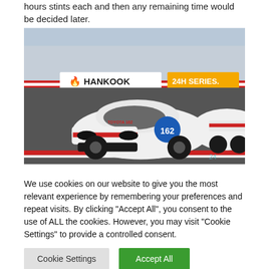hours stints each and then any remaining time would be decided later.
[Figure (photo): A Toyota GT86 race car number 162 in white livery with red and black accents racing on a circuit track. Hankook and 24H Series advertising boards visible in the background. Another white Toyota race car partially visible on the right.]
We use cookies on our website to give you the most relevant experience by remembering your preferences and repeat visits. By clicking "Accept All", you consent to the use of ALL the cookies. However, you may visit "Cookie Settings" to provide a controlled consent.
Cookie Settings | Accept All